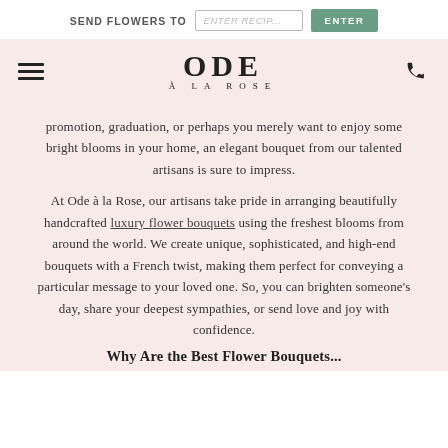SEND FLOWERS TO [ENTER RECIPIENT] ENTER
[Figure (logo): Ode à la Rose logo with hamburger menu and phone icon on pink background]
promotion, graduation, or perhaps you merely want to enjoy some bright blooms in your home, an elegant bouquet from our talented artisans is sure to impress.
At Ode à la Rose, our artisans take pride in arranging beautifully handcrafted luxury flower bouquets using the freshest blooms from around the world. We create unique, sophisticated, and high-end bouquets with a French twist, making them perfect for conveying a particular message to your loved one. So, you can brighten someone's day, share your deepest sympathies, or send love and joy with confidence.
Why Are the Best Flower Bouquets...